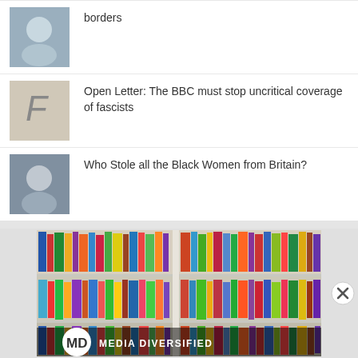borders
Open Letter: The BBC must stop uncritical coverage of fascists
Who Stole all the Black Women from Britain?
[Figure (photo): Bookshelf with colorful books and Media Diversified logo overlay]
Advertisements
[Figure (logo): WordPress VIP logo]
[Figure (other): Learn more advertisement banner with gradient background]